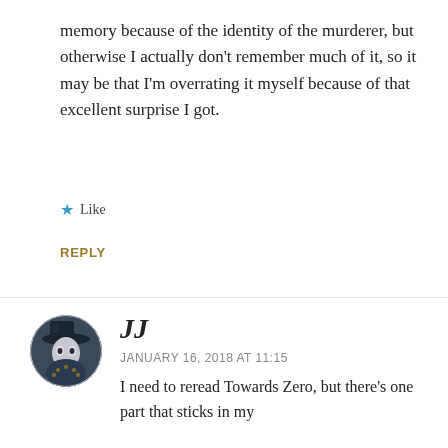memory because of the identity of the murderer, but otherwise I actually don't remember much of it, so it may be that I'm overrating it myself because of that excellent surprise I got.
★ Like
REPLY
[Figure (illustration): Circular avatar image showing a dark, masked fantasy character with a hat]
JJ
JANUARY 16, 2018 AT 11:15
I need to reread Towards Zero, but there's one part that sticks in my